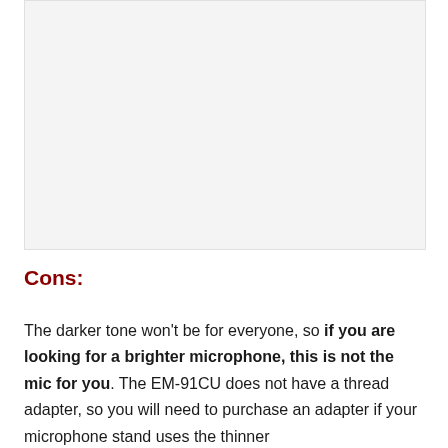[Figure (photo): Large image placeholder area with light gray background]
Cons:
The darker tone won't be for everyone, so if you are looking for a brighter microphone, this is not the mic for you. The EM-91CU does not have a thread adapter, so you will need to purchase an adapter if your microphone stand uses the thinner